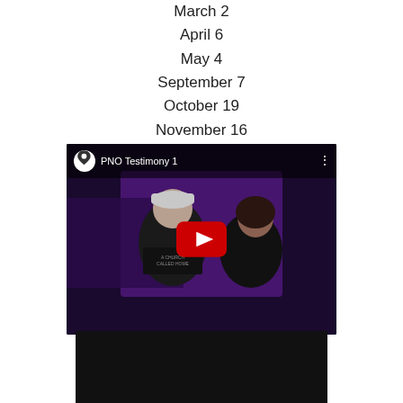March 2
April 6
May 4
September 7
October 19
November 16
[Figure (screenshot): YouTube video thumbnail for 'PNO Testimony 1' showing two people in a church setting with purple lighting, with a red YouTube play button overlay]
[Figure (screenshot): Second video thumbnail, mostly dark/black background]